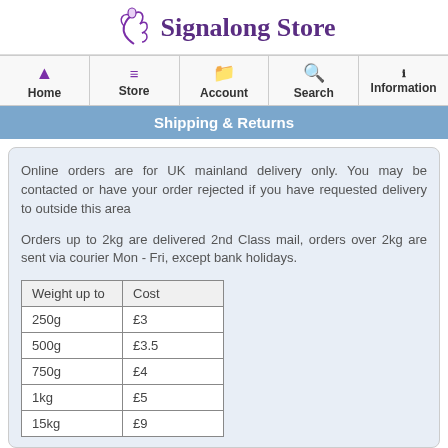Signalong Store
[Figure (logo): Signalong Store logo with stylized hand/figure icon in purple and store name in purple serif font]
[Figure (infographic): Navigation bar with Home, Store, Account, Search, Information tabs with purple icons]
Shipping & Returns
Online orders are for UK mainland delivery only. You may be contacted or have your order rejected if you have requested delivery to outside this area
Orders up to 2kg are delivered 2nd Class mail, orders over 2kg are sent via courier Mon - Fri, except bank holidays.
| Weight up to | Cost |
| --- | --- |
| 250g | £3 |
| 500g | £3.5 |
| 750g | £4 |
| 1kg | £5 |
| 15kg | £9 |